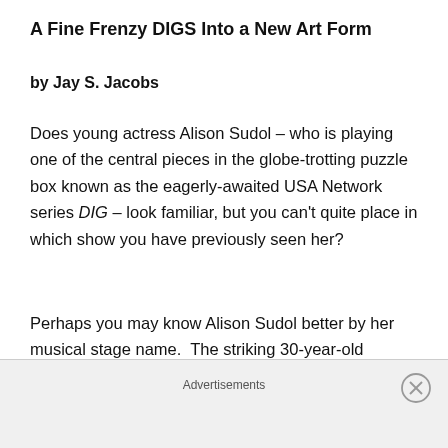A Fine Frenzy DIGS Into a New Art Form
by Jay S. Jacobs
Does young actress Alison Sudol – who is playing one of the central pieces in the globe-trotting puzzle box known as the eagerly-awaited USA Network series DIG – look familiar, but you can't quite place in which show you have previously seen her?
Perhaps you may know Alison Sudol better by her musical stage name.  The striking 30-year-old redhead has been performing as a singer/songwriter under the ethereal moniker A Fine Frenzy for almost a decade now.  Under
Advertisements